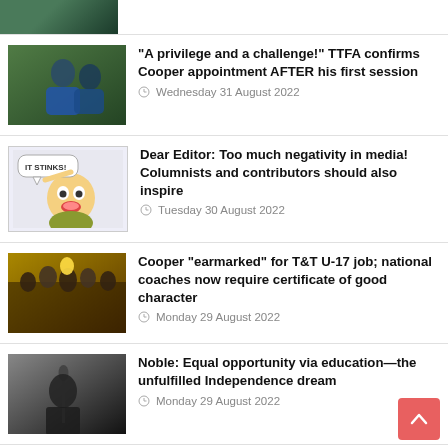[Figure (photo): Top cropped sports photo (partial)]
“A privilege and a challenge!” TTFA confirms Cooper appointment AFTER his first session
Wednesday 31 August 2022
[Figure (illustration): Cartoon character with speech bubble saying IT STINKS!]
Dear Editor: Too much negativity in media! Columnists and contributors should also inspire
Tuesday 30 August 2022
[Figure (photo): Crowd celebrating with trophy]
Cooper “earmarked” for T&T U-17 job; national coaches now require certificate of good character
Monday 29 August 2022
[Figure (photo): Black and white photo of man at microphone]
Noble: Equal opportunity via education—the unfulfilled Independence dream
Monday 29 August 2022
[Figure (photo): Close-up of African snail on green leaves]
Vaneisa: “I’d never have believed the volume if I’d not seen it myself”—my war with African snails
Sunday 28 August 2022